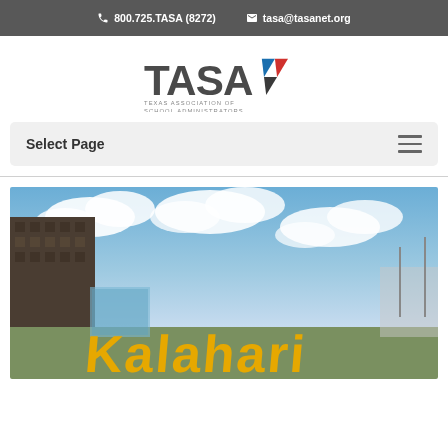800.725.TASA (8272)   tasa@tasanet.org
[Figure (logo): TASA Texas Association of School Administrators logo with colorful chevron/arrow mark]
Select Page
[Figure (photo): Outdoor photo of Kalahari resort sign in large yellow letters with blue sky and clouds in background]